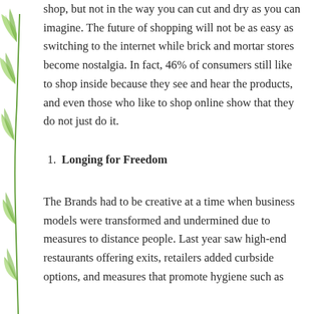shop, but not in the way you can cut and dry as you can imagine. The future of shopping will not be as easy as switching to the internet while brick and mortar stores become nostalgia. In fact, 46% of consumers still like to shop inside because they see and hear the products, and even those who like to shop online show that they do not just do it.
1. Longing for Freedom
The Brands had to be creative at a time when business models were transformed and undermined due to measures to distance people. Last year saw high-end restaurants offering exits, retailers added curbside options, and measures that promote hygiene such as